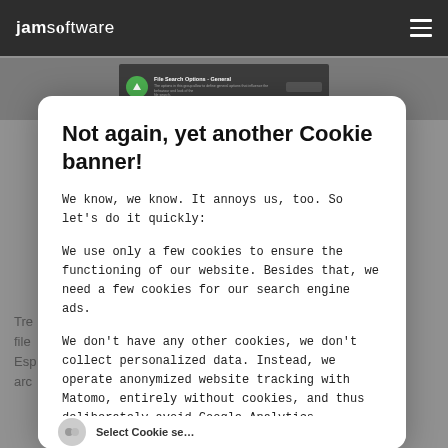JAMsoftware
[Figure (screenshot): Screenshot of File Search Options - General settings dialog in a dark application window]
Not again, yet another Cookie banner!
We know, we know. It annoys us, too. So let's do it quickly:
We use only a few cookies to ensure the functioning of our website. Besides that, we need a few cookies for our search engine ads.
We don't have any other cookies, we don't collect personalized data. Instead, we operate anonymized website tracking with Matomo, entirely without cookies, and thus deliberately avoid Google Analytics.
Tre... file... Esp... arc...